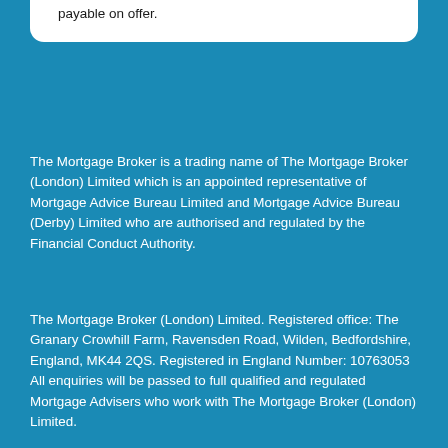payable on offer.
The Mortgage Broker is a trading name of The Mortgage Broker (London) Limited which is an appointed representative of Mortgage Advice Bureau Limited and Mortgage Advice Bureau (Derby) Limited who are authorised and regulated by the Financial Conduct Authority.
The Mortgage Broker (London) Limited. Registered office: The Granary Crowhill Farm, Ravensden Road, Wilden, Bedfordshire, England, MK44 2QS. Registered in England Number: 10763053
All enquiries will be passed to full qualified and regulated Mortgage Advisers who work with The Mortgage Broker (London) Limited.